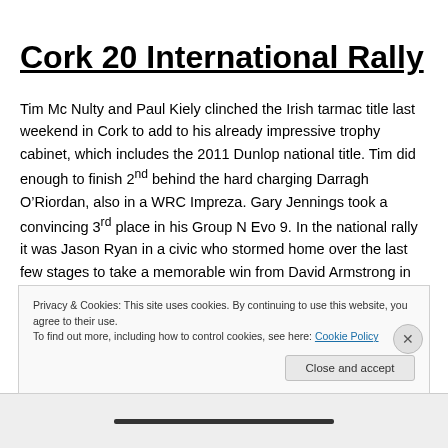Cork 20 International Rally
Tim Mc Nulty and Paul Kiely clinched the Irish tarmac title last weekend in Cork to add to his already impressive trophy cabinet, which includes the 2011 Dunlop national title. Tim did enough to finish 2nd behind the hard charging Darragh O’Riordan, also in a WRC Impreza. Gary Jennings took a convincing 3rd place in his Group N Evo 9. In the national rally it was Jason Ryan in a civic who stormed home over the last few stages to take a memorable win from David Armstrong in an escort. Alan
Privacy & Cookies: This site uses cookies. By continuing to use this website, you agree to their use.
To find out more, including how to control cookies, see here: Cookie Policy
Close and accept